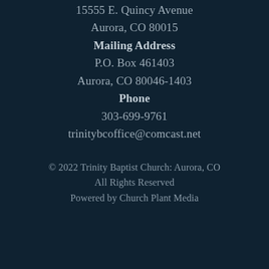15555 E. Quincy Avenue
Aurora, CO 80015
Mailing Address
P.O. Box 461403
Aurora, CO 80046-1403
Phone
303-699-9761
trinitybcoffice@comcast.net
© 2022 Trinity Baptist Church: Aurora, CO
All Rights Reserved
Powered by Church Plant Media